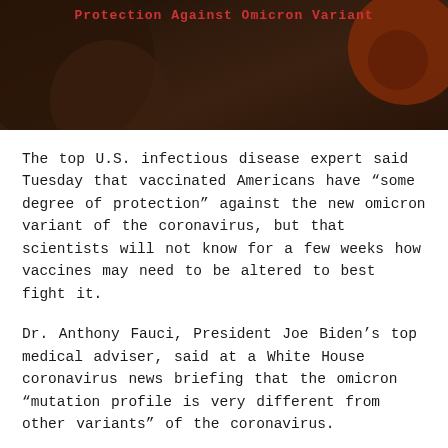Protection Against Omicron Variant
[Figure (photo): Dark-toned header image with circular shapes and overlay texture, reddish-brown tones, with the article title text overlaid in red.]
The top U.S. infectious disease expert said Tuesday that vaccinated Americans have “some degree of protection” against the new omicron variant of the coronavirus, but that scientists will not know for a few weeks how vaccines may need to be altered to best fight it.
Dr. Anthony Fauci, President Joe Biden’s top medical adviser, said at a White House coronavirus news briefing that the omicron “mutation profile is very different from other variants” of the coronavirus.